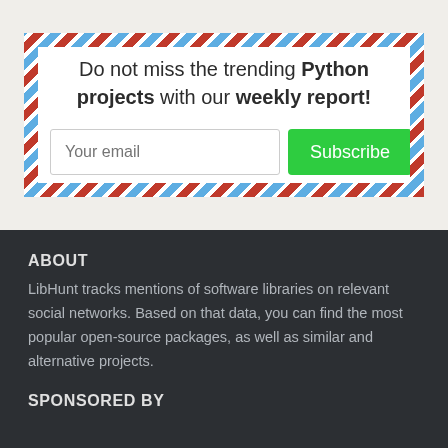Do not miss the trending Python projects with our weekly report!
[Figure (other): Email subscription form with text input labeled 'Your email' and a green 'Subscribe' button, inside an airmail-bordered white box]
ABOUT
LibHunt tracks mentions of software libraries on relevant social networks. Based on that data, you can find the most popular open-source packages, as well as similar and alternative projects.
SPONSORED BY